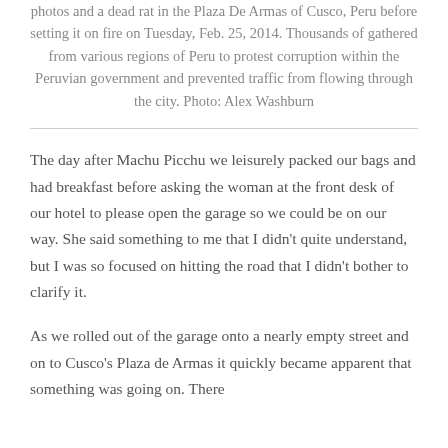photos and a dead rat in the Plaza De Armas of Cusco, Peru before setting it on fire on Tuesday, Feb. 25, 2014. Thousands of gathered from various regions of Peru to protest corruption within the Peruvian government and prevented traffic from flowing through the city. Photo: Alex Washburn
The day after Machu Picchu we leisurely packed our bags and had breakfast before asking the woman at the front desk of our hotel to please open the garage so we could be on our way. She said something to me that I didn't quite understand, but I was so focused on hitting the road that I didn't bother to clarify it.
As we rolled out of the garage onto a nearly empty street and on to Cusco's Plaza de Armas it quickly became apparent that something was going on. There